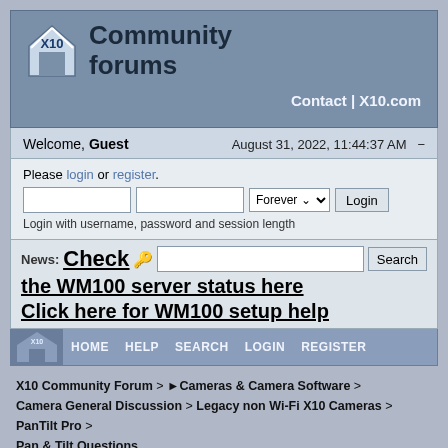[Figure (logo): X10 Community Forums logo with house/X10 icon and bold text 'Community forums']
Contact | X10.com
Welcome, Guest   August 31, 2022, 11:44:37 AM
Please login or register.
Login with username, password and session length
News: Check the WM100 server status here
Click here for WM100 setup help
HOME   HELP   SEARCH   LOGIN   REGISTER
X10 Community Forum > ►cameras & Camera Software > Camera General Discussion > Legacy non Wi-Fi X10 Cameras > PanTilt Pro > Pan & Tilt Questions
« previous next »
Pages: [1]   PRINT
| Author | Topic: Pan & Tilt Questions  (Read 8969 times) |
| --- | --- |